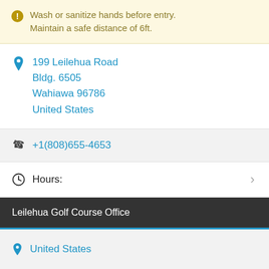Wash or sanitize hands before entry. Maintain a safe distance of 6ft.
199 Leilehua Road
Bldg. 6505
Wahiawa 96786
United States
+1(808)655-4653
Hours:
Leilehua Golf Course Office
United States